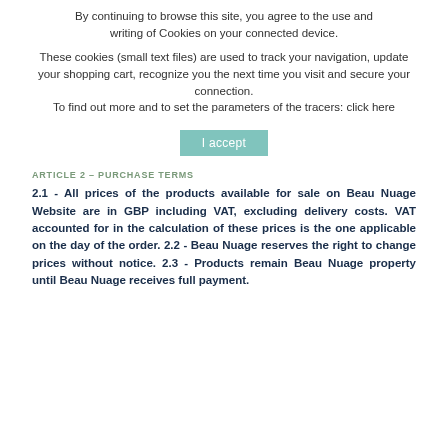By continuing to browse this site, you agree to the use and writing of Cookies on your connected device.
These cookies (small text files) are used to track your navigation, update your shopping cart, recognize you the next time you visit and secure your connection. To find out more and to set the parameters of the tracers: click here
I accept
ARTICLE 2 – PURCHASE TERMS
2.1 - All prices of the products available for sale on Beau Nuage Website are in GBP including VAT, excluding delivery costs. VAT accounted for in the calculation of these prices is the one applicable on the day of the order. 2.2 - Beau Nuage reserves the right to change prices without notice. 2.3 - Products remain Beau Nuage property until Beau Nuage receives full payment.